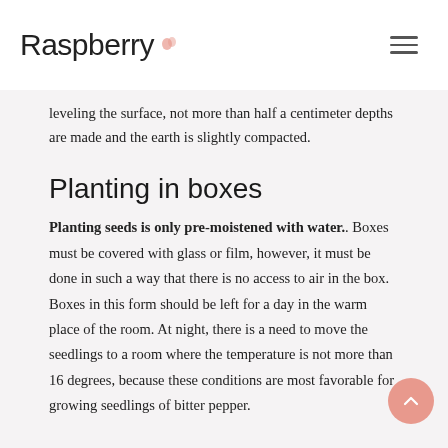Raspberry
leveling the surface, not more than half a centimeter depths are made and the earth is slightly compacted.
Planting in boxes
Planting seeds is only pre-moistened with water.. Boxes must be covered with glass or film, however, it must be done in such a way that there is no access to air in the box. Boxes in this form should be left for a day in the warm place of the room. At night, there is a need to move the seedlings to a room where the temperature is not more than 16 degrees, because these conditions are most favorable for growing seedlings of bitter pepper.